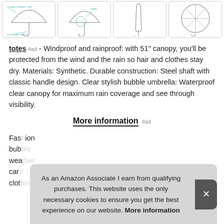[Figure (photo): Four product images of a clear bubble umbrella shown from different angles: front view with annotations, side annotated view, closed/folded view, and top-down open view.]
totes #ad - Windproof and rainproof: with 51" canopy, you'll be protected from the wind and the rain so hair and clothes stay dry. Materials: Synthetic. Durable construction: Steel shaft with classic handle design. Clear stylish bubble umbrella: Waterproof clear canopy for maximum rain coverage and see through visibility.
More information #ad
Fas[hion] bub[ble] wea[ther] car[e] clot[hing]
As an Amazon Associate I earn from qualifying purchases. This website uses the only necessary cookies to ensure you get the best experience on our website. More information